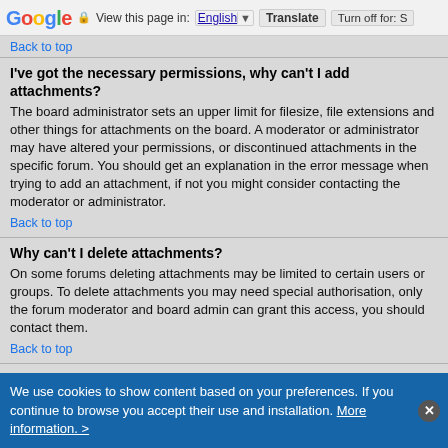Google — View this page in: English [▼] Translate | Turn off for: S
Back to top
I've got the necessary permissions, why can't I add attachments?
The board administrator sets an upper limit for filesize, file extensions and other things for attachments on the board. A moderator or administrator may have altered your permissions, or discontinued attachments in the specific forum. You should get an explanation in the error message when trying to add an attachment, if not you might consider contacting the moderator or administrator.
Back to top
Why can't I delete attachments?
On some forums deleting attachments may be limited to certain users or groups. To delete attachments you may need special authorisation, only the forum moderator and board admin can grant this access, you should contact them.
Back to top
Why can't I view/download attachments?
On some viewing/downloading forums attachments may be limited to
We use cookies to show content based on your preferences. If you continue to browse you accept their use and installation. More information. >